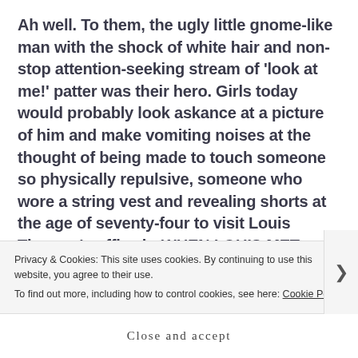Ah well. To them, the ugly little gnome-like man with the shock of white hair and non-stop attention-seeking stream of 'look at me!' patter was their hero. Girls today would probably look askance at a picture of him and make vomiting noises at the thought of being made to touch someone so physically repulsive, someone who wore a string vest and revealing shorts at the age of seventy-four to visit Louis Theroux's office in WHEN LOUIS MET JIMMY. It feels like everyone who knew him back then knew what he was up to, but no one did anything about it
Privacy & Cookies: This site uses cookies. By continuing to use this website, you agree to their use. To find out more, including how to control cookies, see here: Cookie Policy
Close and accept